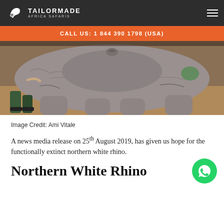TAILORMADE AFRICA SAFARIS
CALL US: 1 844 390 1798 (USA)
[Figure (photo): Close-up photo of a northern white rhino lying on the ground, with a person's boots visible, taken by Ami Vitale]
Image Credit: Ami Vitale
A news media release on 25th August 2019, has given us hope for the functionally extinct northern white rhino.
Northern White Rhino